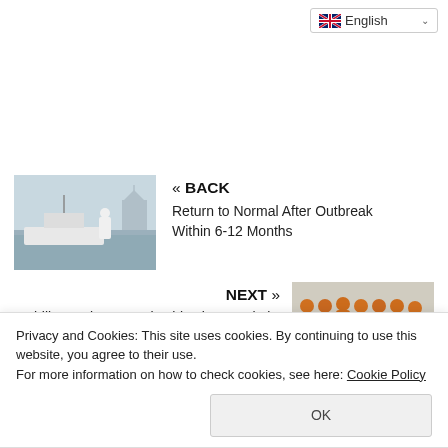English
[Figure (photo): Person in white protective suit standing near a boat by the waterfront with a mosque in the background]
« BACK
Return to Normal After Outbreak Within 6-12 Months
[Figure (photo): Group of people in orange vests and masks standing in front of medical equipment]
NEXT »
Philips Turkey, Basaksehir City Hospital's Imaging Services Becomes Partner
Privacy and Cookies: This site uses cookies. By continuing to use this website, you agree to their use.
For more information on how to check cookies, see here: Cookie Policy
OK